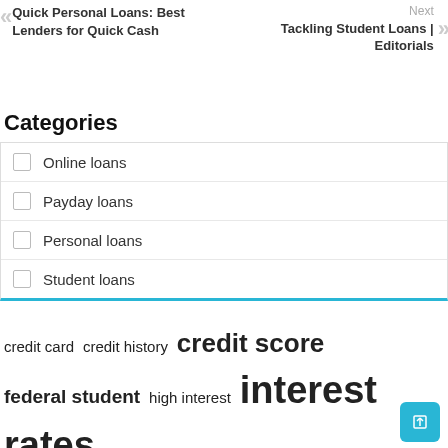Quick Personal Loans: Best Lenders for Quick Cash
Next
Tackling Student Loans | Editorials
Categories
Online loans
Payday loans
Personal loans
Student loans
[Figure (infographic): Tag cloud with finance-related keywords in various sizes: credit card, credit history, credit score (large), federal student, high interest, interest rates (very large), loan amount, loan debt, loan payments, monthly payments, payday loans (large), personal loans (large), private student, short term, student loans (very large)]